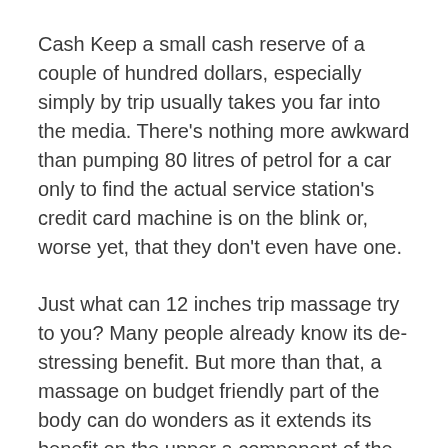Cash Keep a small cash reserve of a couple of hundred dollars, especially simply by trip usually takes you far into the media. There's nothing more awkward than pumping 80 litres of petrol for a car only to find the actual service station's credit card machine is on the blink or, worse yet, that they don't even have one.
Just what can 12 inches trip massage try to you? Many people already know its de-stressing benefit. But more than that, a massage on budget friendly part of the body can do wonders as it extends its benefit on the upper a component of the body. This is because stimulation of this feet contributes to better blood flow. This consequently helps in the activities of your organs within the body. Feet massage then does not only recondition the soles, toes and muscles it really is believed boost the general well-being of the people.